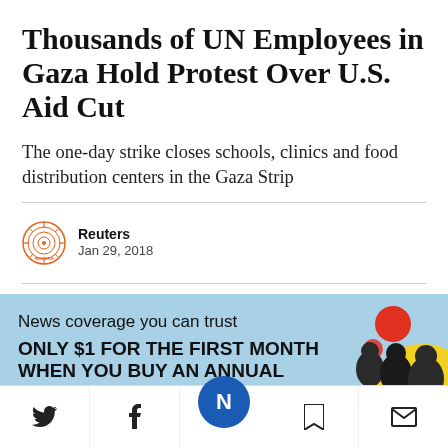Thousands of UN Employees in Gaza Hold Protest Over U.S. Aid Cut
The one-day strike closes schools, clinics and food distribution centers in the Gaza Strip
Reuters
Jan 29, 2018
[Figure (infographic): Subscription advertisement banner with light blue background. Text reads: 'News coverage you can trust ONLY $1 FOR THE FIRST MONTH WHEN YOU BUY AN ANNUAL SUBSCRIPTION' with a SUBSCRIBE button and decorative circles (red, yellow) and silhouettes of people on the right side.]
[Figure (infographic): Bottom navigation toolbar with Twitter bird icon, Facebook f icon, Newsweek N logo in blue circle (center), bookmark icon, and mail envelope icon.]